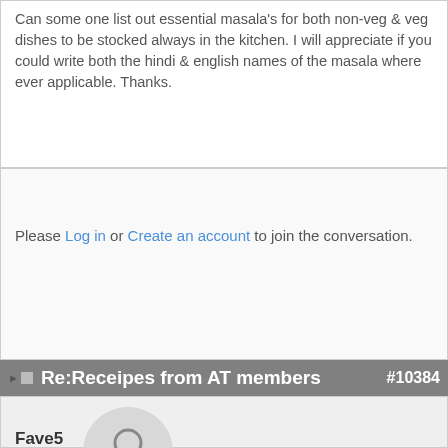Can some one list out essential masala's for both non-veg & veg dishes to be stocked always in the kitchen. I will appreciate if you could write both the hindi & english names of the masala where ever applicable. Thanks.
Please Log in or Create an account to join the conversation.
Re:Receipes from AT members #10384
[Figure (illustration): User avatar placeholder with person silhouette icon, next to username Fave5]